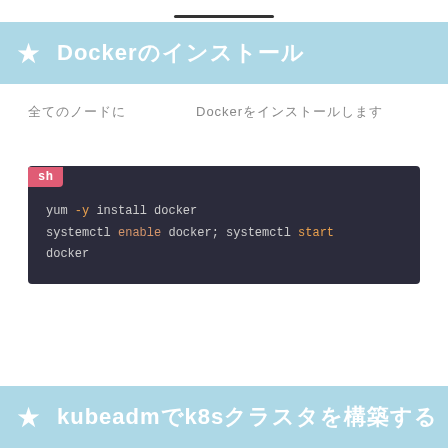Docker のインストール
全てのノードにDockerをインストールします
[Figure (screenshot): Shell code block showing: yum -y install docker
systemctl enable docker; systemctl start docker]
kubeadmでk8sクラスタを構築する